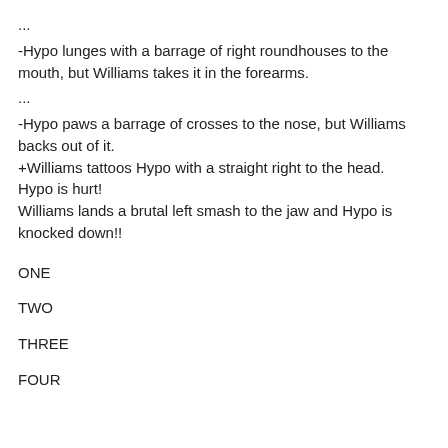...
-Hypo lunges with a barrage of right roundhouses to the mouth, but Williams takes it in the forearms.
...
-Hypo paws a barrage of crosses to the nose, but Williams backs out of it.
+Williams tattoos Hypo with a straight right to the head.
Hypo is hurt!
Williams lands a brutal left smash to the jaw and Hypo is knocked down!!
ONE
TWO
THREE
FOUR